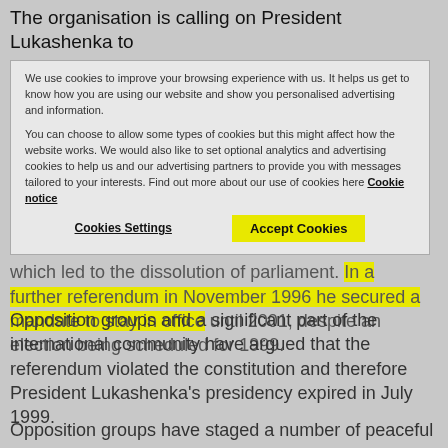The organisation is calling on President Lukashenka to
unconditionally release all other prisoners of conscience currently being held for their non-violent political beliefs, including Andrey Klimov and Vladimir Koudinov, who were arrested and imprisoned after opposing the President's forced dissolution of parliament in 1996.
Background information
In 1996 President Lukashenka held a referendum which led to the dissolution of parliament. In a further referendum in November 1996 he secured a mandate to stay in office until 2001, despite an election being scheduled for 1999.
Opposition groups and a significant part of the international community have argued that the referendum violated the constitution and therefore President Lukashenka's presidency expired in July 1999.
Opposition groups have staged a number of peaceful protests against President Lukashenka's continuation in the